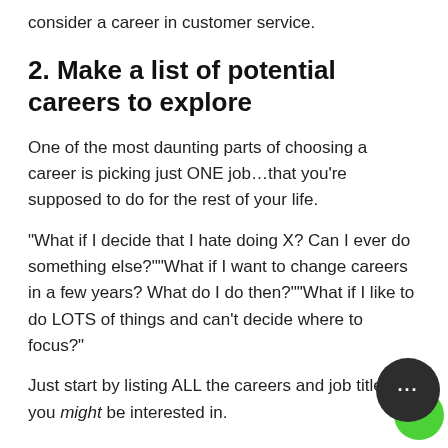consider a career in customer service.
2. Make a list of potential careers to explore
One of the most daunting parts of choosing a career is picking just ONE job…that you're supposed to do for the rest of your life.
“What if I decide that I hate doing X? Can I ever do something else?”“What if I want to change careers in a few years? What do I do then?”“What if I like to do LOTS of things and can’t decide where to focus?”
Just start by listing ALL the careers and job titles you might be interested in.